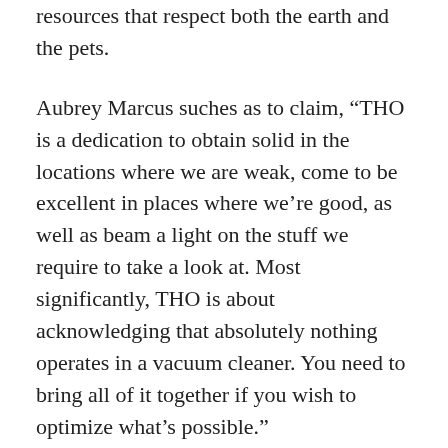resources that respect both the earth and the pets.
Aubrey Marcus suches as to claim, “THO is a dedication to obtain solid in the locations where we are weak, come to be excellent in places where we’re good, as well as beam a light on the stuff we require to take a look at. Most significantly, THO is about acknowledging that absolutely nothing operates in a vacuum cleaner. You need to bring all of it together if you wish to optimize what’s possible.” physical, mental, and spiritual health are all at the core of Onnits alternative ideology and empowering people to accomplish their possibility with knowledge and devices is crucial to their mission. Anyone can start making